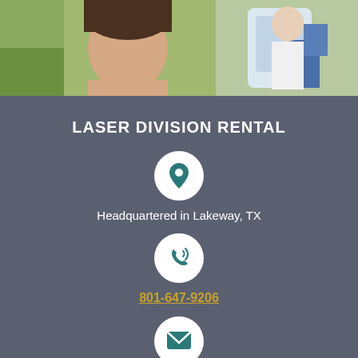[Figure (photo): Photo of a person receiving laser/aesthetic treatment, with medical equipment visible on the right side.]
LASER DIVISION RENTAL
Headquartered in Lakeway, TX
801-647-9206
johnlaserdivision@gmail.com